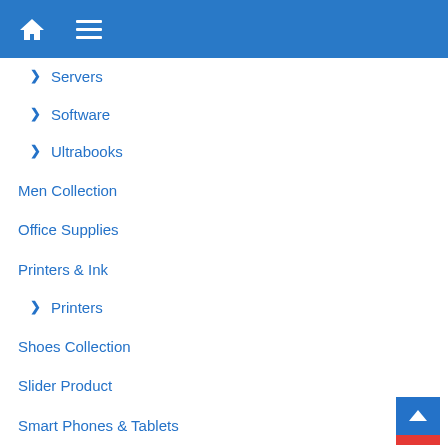Home menu navigation bar
> Servers
> Software
> Ultrabooks
Men Collection
Office Supplies
Printers & Ink
> Printers
Shoes Collection
Slider Product
Smart Phones & Tablets
> Accessories